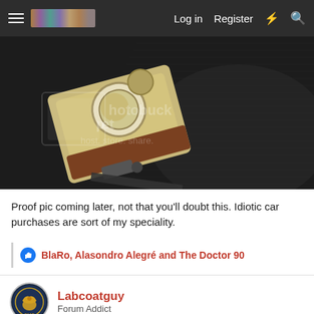Log in  Register
[Figure (photo): A vintage camera or seatbelt mechanism on a dark car seat interior, with Photobucket watermark overlay reading 'host. store. share.']
Proof pic coming later, not that you'll doubt this. Idiotic car purchases are sort of my speciality.
BlaRo, Alasondro Alegré and The Doctor 90
Labcoatguy
Forum Addict